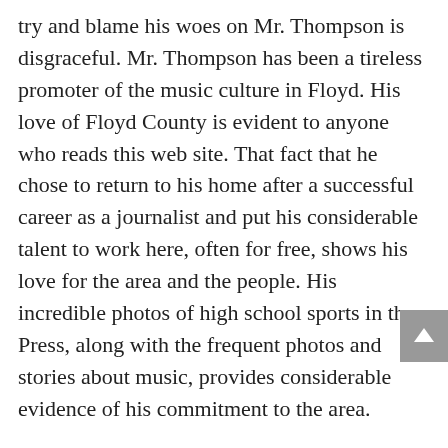try and blame his woes on Mr. Thompson is disgraceful. Mr. Thompson has been a tireless promoter of the music culture in Floyd. His love of Floyd County is evident to anyone who reads this web site. That fact that he chose to return to his home after a successful career as a journalist and put his considerable talent to work here, often for free, shows his love for the area and the people. His incredible photos of high school sports in the Press, along with the frequent photos and stories about music, provides considerable evidence of his commitment to the area.
Mr. Hayden, on the other hand, has shown contempt for others through his comments to customers at his barber shop as well as